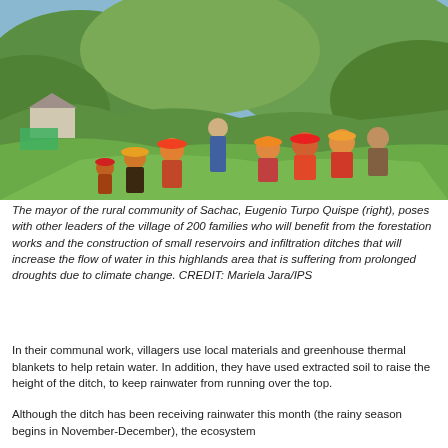[Figure (photo): Group photo of the mayor of the rural community of Sachac, Eugenio Turpo Quispe (right), posing with other village leaders on a green hillside. People are wearing traditional colorful Andean clothing and hats. Green hills and a rural building are visible in the background.]
The mayor of the rural community of Sachac, Eugenio Turpo Quispe (right), poses with other leaders of the village of 200 families who will benefit from the forestation works and the construction of small reservoirs and infiltration ditches that will increase the flow of water in this highlands area that is suffering from prolonged droughts due to climate change. CREDIT: Mariela Jara/IPS
In their communal work, villagers use local materials and greenhouse thermal blankets to help retain water. In addition, they have used extracted soil to raise the height of the ditch, to keep rainwater from running over the top.
Although the ditch has been receiving rainwater this month (the rainy season begins in November-December), the ecosystem